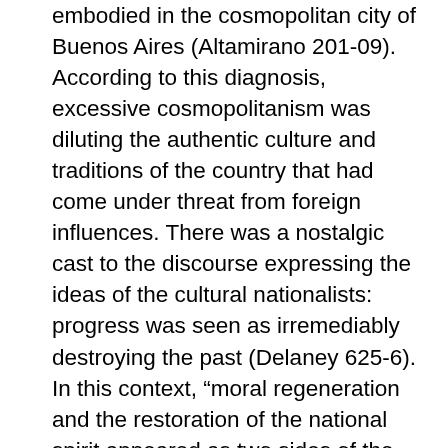embodied in the cosmopolitan city of Buenos Aires (Altamirano 201-09). According to this diagnosis, excessive cosmopolitanism was diluting the authentic culture and traditions of the country that had come under threat from foreign influences. There was a nostalgic cast to the discourse expressing the ideas of the cultural nationalists: progress was seen as irremediably destroying the past (Delaney 625-6). In this context, “moral regeneration and the restoration of the national spirit appeared as two sides of the same movement” (Altamirano 207). As in other Latin American countries, nationalism began to focus on cultural authenticity as a way of creating ‘unique’ national identities. Expressed in different ways, this ‘uniqueness’ could embrace praise for indigenous or mestizo cultures, together with the rediscovery of the Hispanic legacy. All in all, the debate about Argentina’s national identity increasingly targeted US cultural penetration as one of the causes of the